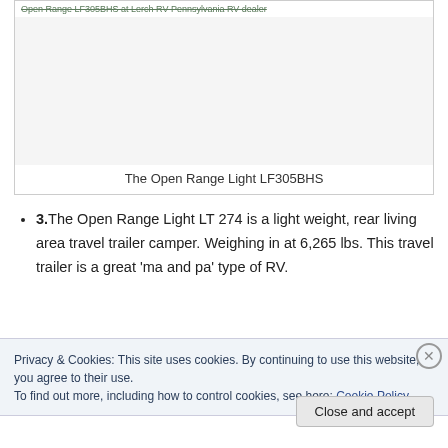[Figure (photo): Image of the Open Range Light LF305BHS at Lerch RV Pennsylvania RV dealer. The image area appears mostly blank/white with a caption at the bottom.]
The Open Range Light LF305BHS
3.The Open Range Light LT 274 is a light weight, rear living area travel trailer camper. Weighing in at 6,265 lbs. This travel trailer is a great 'ma and pa' type of RV.
Privacy & Cookies: This site uses cookies. By continuing to use this website, you agree to their use.
To find out more, including how to control cookies, see here: Cookie Policy
Close and accept